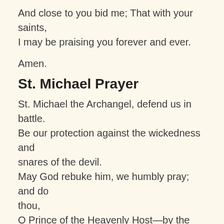And close to you bid me; That with your saints, I may be praising you forever and ever.
Amen.
St. Michael Prayer
St. Michael the Archangel, defend us in battle. Be our protection against the wickedness and snares of the devil.
May God rebuke him, we humbly pray; and do thou,
O Prince of the Heavenly Host—by the Divine Power of God—cast into hell Satan,
and all the evil spirits, who prowl about the world seeking the ruin of souls.
Amen
Prayer for Peace